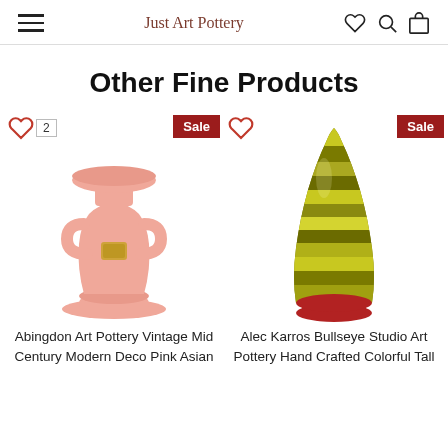Just Art Pottery
Other Fine Products
[Figure (photo): Pink ceramic vase with handles, Abingdon Art Pottery, with Sale badge and wishlist icon showing count 2]
Abingdon Art Pottery Vintage Mid Century Modern Deco Pink Asian
[Figure (photo): Striped green and yellow tall ceramic vase on red base, Alec Karros Bullseye Studio Art Pottery, with Sale badge and wishlist icon]
Alec Karros Bullseye Studio Art Pottery Hand Crafted Colorful Tall